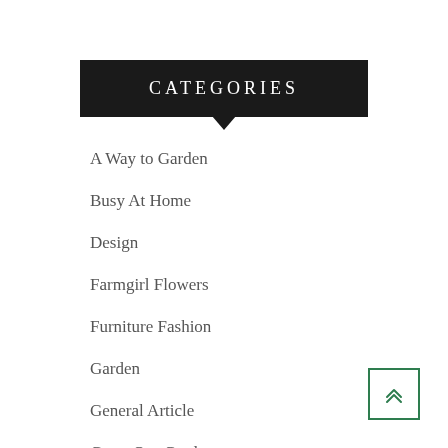CATEGORIES
A Way to Garden
Busy At Home
Design
Farmgirl Flowers
Furniture Fashion
Garden
General Article
Grow Our Garden
Growing With Plants